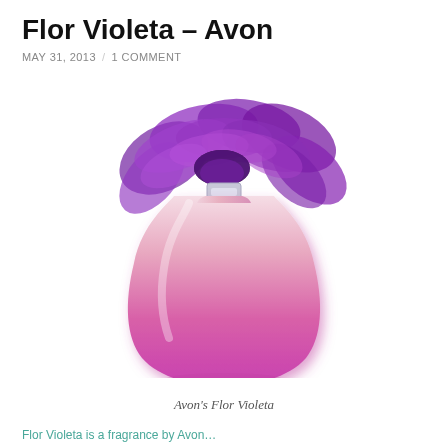Flor Violeta – Avon
MAY 31, 2013 / 1 COMMENT
[Figure (photo): Avon Flor Violeta perfume bottle — teardrop-shaped glass bottle with pink-to-magenta gradient, topped with a large ruffled purple organza flower decoration and a silver cap.]
Avon's Flor Violeta
Flor Violeta is a fragrance by Avon…